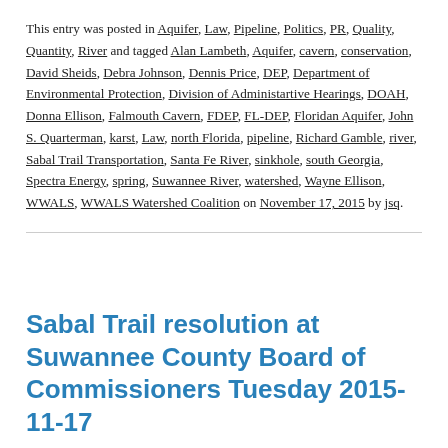This entry was posted in Aquifer, Law, Pipeline, Politics, PR, Quality, Quantity, River and tagged Alan Lambeth, Aquifer, cavern, conservation, David Sheids, Debra Johnson, Dennis Price, DEP, Department of Environmental Protection, Division of Administartive Hearings, DOAH, Donna Ellison, Falmouth Cavern, FDEP, FL-DEP, Floridan Aquifer, John S. Quarterman, karst, Law, north Florida, pipeline, Richard Gamble, river, Sabal Trail Transportation, Santa Fe River, sinkhole, south Georgia, Spectra Energy, spring, Suwannee River, watershed, Wayne Ellison, WWALS, WWALS Watershed Coalition on November 17, 2015 by jsq.
Sabal Trail resolution at Suwannee County Board of Commissioners Tuesday 2015-11-17